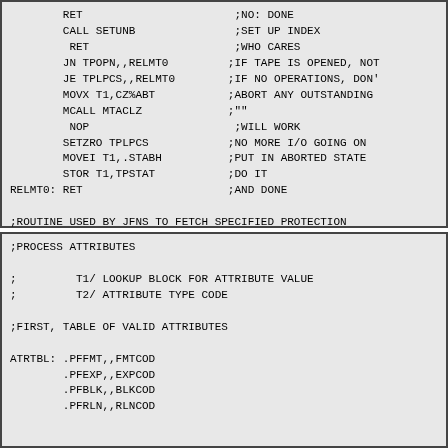RET ;NO: DONE
 CALL SETUNB ;SET UP INDEX
  RET ;WHO CARES
 JN TPOPN,,RELMT0 ;IF TAPE IS OPENED, NOT
 JE TPLPCS,,RELMT0 ;IF NO OPERATIONS, DON'
 MOVX T1,CZ%ABT ;ABORT ANY OUTSTANDING
 MCALL MTACLZ ;""
  NOP ;WILL WORK
 SETZRO TPLPCS ;NO MORE I/O GOING ON
 MOVEI T1,.STABH ;PUT IN ABORTED STATE
 STOR T1,TPSTAT ;DO IT
RELMT0: RET ;AND DONE

;ROUTINE USED BY JFNS TO FETCH SPECIFIED PROTECTION

MTGPRO::MOVE T1,FILMTP(JFN) ;GET PROTECTION
        RET ;AND DONE
;PROCESS ATTRIBUTES

;         T1/ LOOKUP BLOCK FOR ATTRIBUTE VALUE
;         T2/ ATTRIBUTE TYPE CODE

;FIRST, TABLE OF VALID ATTRIBUTES

ATRTBL: .PFFMT,,FMTCOD
        .PFEXP,,EXPCOD
        .PFBLK,,BLKCOD
        .PFRLN,,RLNCOD